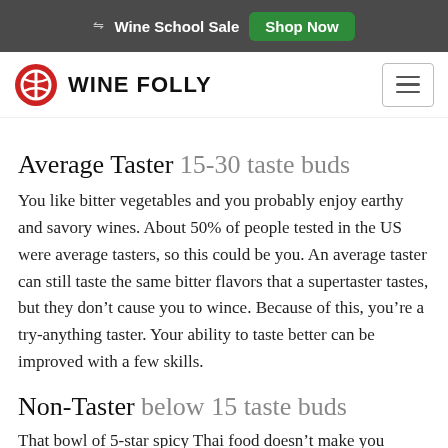Wine School Sale  Shop Now
[Figure (logo): Wine Folly logo with red circle icon and WINE FOLLY text, plus hamburger menu button]
Average Taster 15-30 taste buds
You like bitter vegetables and you probably enjoy earthy and savory wines. About 50% of people tested in the US were average tasters, so this could be you. An average taster can still taste the same bitter flavors that a supertaster tastes, but they don’t cause you to wince. Because of this, you’re a try-anything taster. Your ability to taste better can be improved with a few skills.
Non-Taster below 15 taste buds
That bowl of 5-star spicy Thai food doesn’t make you